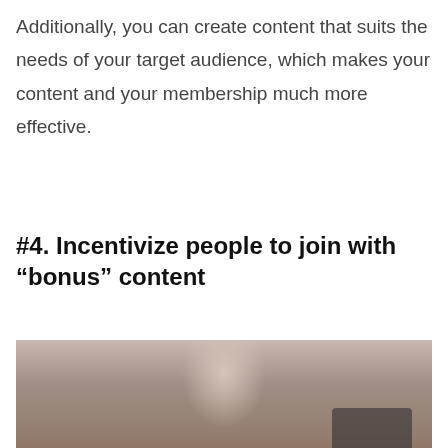Additionally, you can create content that suits the needs of your target audience, which makes your content and your membership much more effective.
#4. Incentivize people to join with “bonus” content
[Figure (photo): A person wearing a light grey top, photographed from the chest area, with a dark background. The image is cropped at the bottom of the frame.]